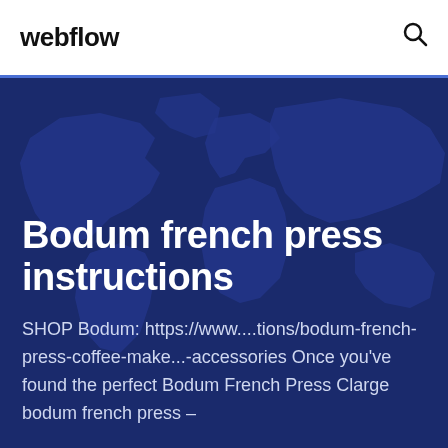webflow
Bodum french press instructions
SHOP Bodum: https://www....tions/bodum-french-press-coffee-make...-accessories Once you've found the perfect Bodum French Press Clarge bodum french press –